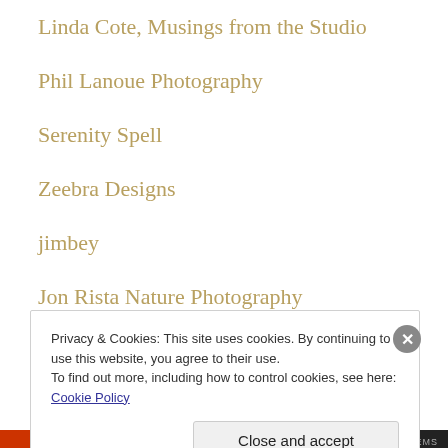Linda Cote, Musings from the Studio
Phil Lanoue Photography
Serenity Spell
Zeebra Designs
jimbey
Jon Rista Nature Photography
Sandy's Another Lovely Day Blog
Privacy & Cookies: This site uses cookies. By continuing to use this website, you agree to their use. To find out more, including how to control cookies, see here: Cookie Policy
Close and accept